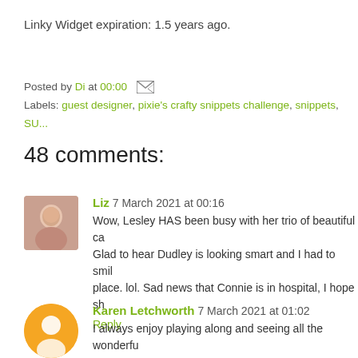Linky Widget expiration: 1.5 years ago.
Posted by Di at 00:00   [email icon]
Labels: guest designer, pixie's crafty snippets challenge, snippets, SU...
48 comments:
Liz  7 March 2021 at 00:16
Wow, Lesley HAS been busy with her trio of beautiful ca... Glad to hear Dudley is looking smart and I had to smil... place. lol. Sad news that Connie is in hospital, I hope sh...
Reply
Karen Letchworth  7 March 2021 at 01:02
I always enjoy playing along and seeing all the wonderfu...